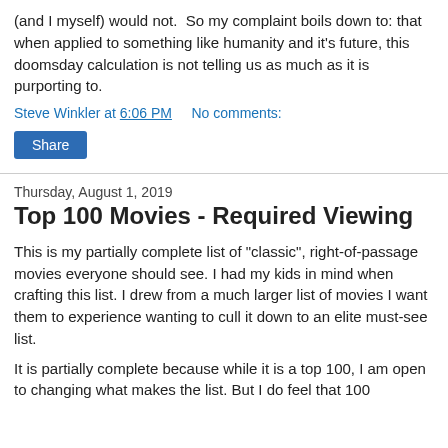(and I myself) would not.  So my complaint boils down to: that when applied to something like humanity and it's future, this doomsday calculation is not telling us as much as it is purporting to.
Steve Winkler at 6:06 PM    No comments:
Share
Thursday, August 1, 2019
Top 100 Movies - Required Viewing
This is my partially complete list of "classic", right-of-passage movies everyone should see. I had my kids in mind when crafting this list. I drew from a much larger list of movies I want them to experience wanting to cull it down to an elite must-see list.
It is partially complete because while it is a top 100, I am open to changing what makes the list. But I do feel that 100 is sufficient to make it an elite list.